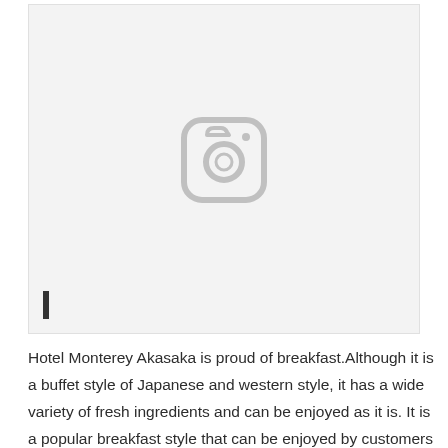[Figure (photo): Image placeholder with Instagram-style camera icon on light gray background. A small dark vertical bar appears at the bottom left of the image box.]
Hotel Monterey Akasaka is proud of breakfast.Although it is a buffet style of Japanese and western style, it has a wide variety of fresh ingredients and can be enjoyed as it is. It is a popular breakfast style that can be enjoyed by customers